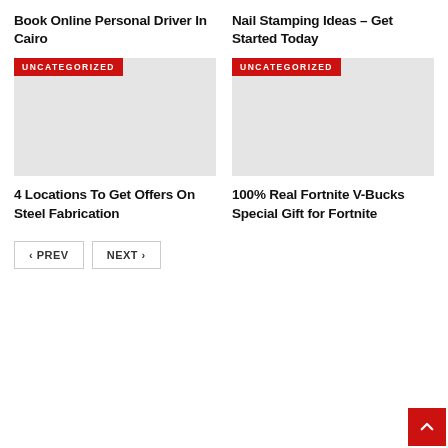Book Online Personal Driver In Cairo
[Figure (other): Gray placeholder image with UNCATEGORIZED red badge]
Nail Stamping Ideas – Get Started Today
[Figure (other): Gray placeholder image with UNCATEGORIZED red badge]
4 Locations To Get Offers On Steel Fabrication
100% Real Fortnite V-Bucks Special Gift for Fortnite
PREV  NEXT